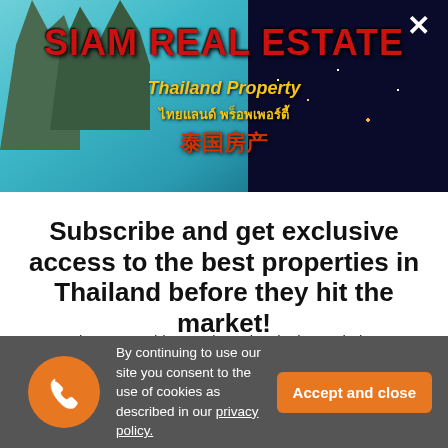[Figure (illustration): Siam Real Estate banner with beach/karst landscape on left and city night skyline on right, with red logo text 'SIAM REAL ESTATE', yellow subtitle 'Thailand Property', Thai script, and Chinese text, plus an X close button]
Subscribe and get exclusive access to the best properties in Thailand before they hit the market!
Join our monthly newsletter by signing up below.
Enter your name here...
By continuing to use our site you consent to the use of cookies as described in our privacy policy.
Accept and close